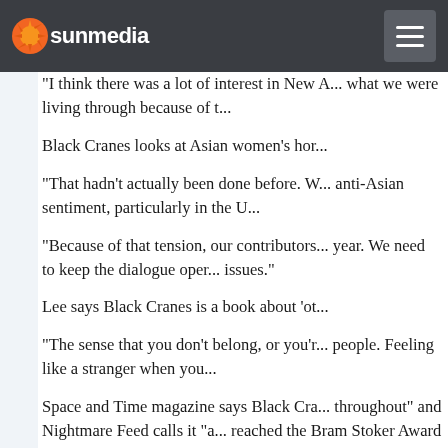sunmedia
“I think there was a lot of interest in New A... what we were living through because of t...
Black Cranes looks at Asian women’s hor...
“That hadn’t actually been done before. W... anti-Asian sentiment, particularly in the U...
“Because of that tension, our contributors... year. We need to keep the dialogue oper... issues.”
Lee says Black Cranes is a book about ‘ot...
“The sense that you don’t belong, or you’r... people. Feeling like a stranger when you...
Space and Time magazine says Black Cra... throughout” and Nightmare Feed calls it “a... reached the Bram Stoker Award finals thr... overwhelmed by the double honour. She... horror fiction.
“We have so much undiscovered literary ... “and our authors offer a unique perspect...